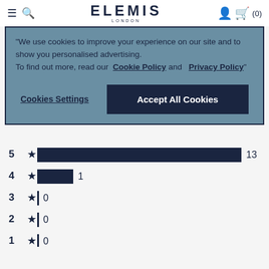ELEMIS LONDON
"We use cookies to improve your experience on our site and to show you personalised advertising. To find out more, read our Cookie Policy and Privacy Policy"
Cookies Settings | Accept All Cookies
[Figure (bar-chart): Star ratings]